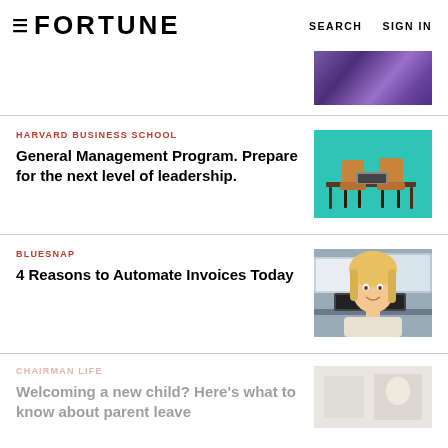≡ FORTUNE   SEARCH   SIGN IN
[Figure (photo): Partial purple/violet abstract image at top right]
HARVARD BUSINESS SCHOOL
General Management Program. Prepare for the next level of leadership.
[Figure (photo): Desk and chairs on teal background — Harvard Business School ad]
BLUESNAP
4 Reasons to Automate Invoices Today
[Figure (photo): Blonde woman with laptop, smiling — BlueSnap ad]
CHAIRMAN LIFE
Welcoming a new child? Here's what to know about parent leave